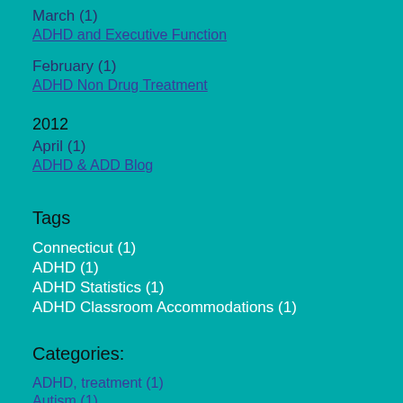March (1)
ADHD and Executive Function
February (1)
ADHD Non Drug Treatment
2012
April (1)
ADHD & ADD Blog
Tags
Connecticut (1)
ADHD (1)
ADHD Statistics (1)
ADHD Classroom Accommodations (1)
Categories:
ADHD, treatment (1)
Autism (1)
Adult ADHD (1)